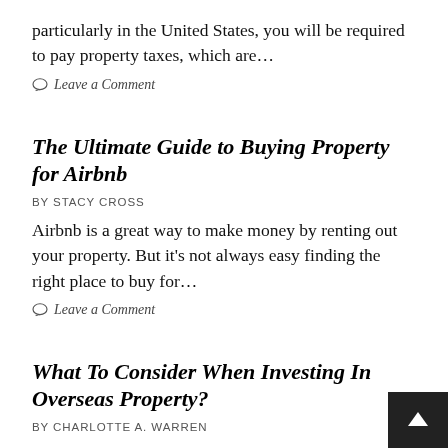particularly in the United States, you will be required to pay property taxes, which are…
Leave a Comment
The Ultimate Guide to Buying Property for Airbnb
BY STACY CROSS
Airbnb is a great way to make money by renting out your property. But it's not always easy finding the right place to buy for…
Leave a Comment
What To Consider When Investing In Overseas Property?
BY CHARLOTTE A. WARREN
Without a doubt, investing in real estate overseas can be the greatest way to diversify your property portfolio and also capitalise on the growth of…